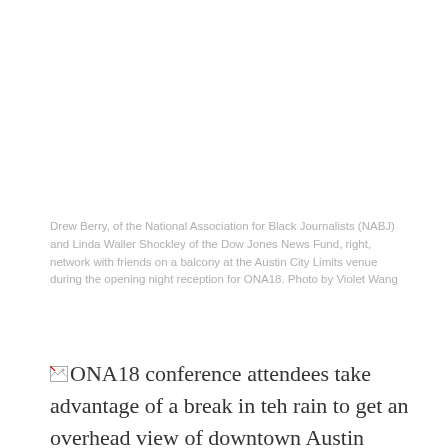Drew Berry, of the National Association for Black Journalists (NABJ) and Linda Waller Shockley of the Dow Jones News Fund, right, network with friends on a balcony at the Austin City Limits venue during the opening night reception for ONA18. Photo by Violet Wang
[Figure (photo): Broken image placeholder icon followed by alt text: ONA18 conference attendees take advantage of a break in teh rain to get an overhead view of downtown Austin from a balcony at Austin City Limits Live at The Moody Theater. (Photo: Violet Wang)]